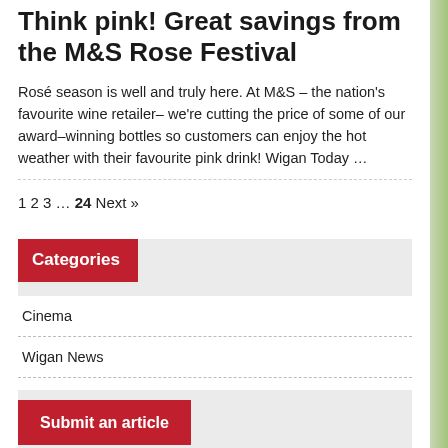Think pink! Great savings from the M&S Rose Festival
Rosé season is well and truly here. At M&S – the nation's favourite wine retailer– we're cutting the price of some of our award-winning bottles so customers can enjoy the hot weather with their favourite pink drink! Wigan Today ...
1 2 3 ... 24 Next »
Categories
Cinema
Wigan News
Submit an article